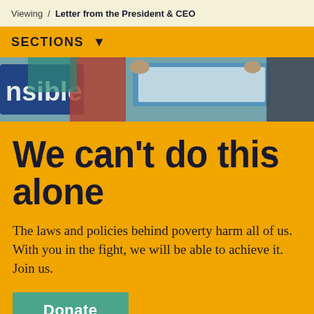Viewing / Letter from the President & CEO
SECTIONS ▼
[Figure (photo): Protesters holding signs at a rally, one partially visible sign reads 'nsible', another person holds a light blue framed sign]
We can't do this alone
The laws and policies behind poverty harm all of us. With you in the fight, we will be able to achieve it. Join us.
Donate